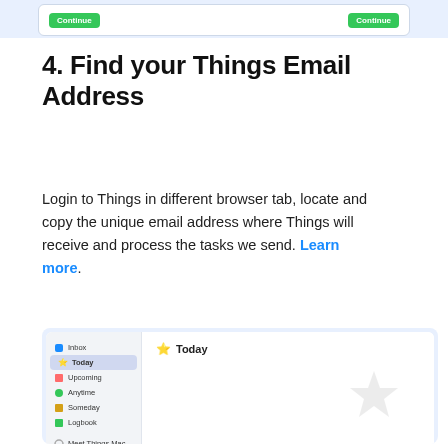[Figure (screenshot): Top UI bar with two green buttons on a light blue background]
4. Find your Things Email Address
Login to Things in different browser tab, locate and copy the unique email address where Things will receive and process the tasks we send. Learn more.
[Figure (screenshot): Screenshot of Things app showing sidebar with Inbox, Today (selected), Upcoming, Anytime, Someday, Logbook, Meet Things Mac items, and main area showing Today view with star watermark]